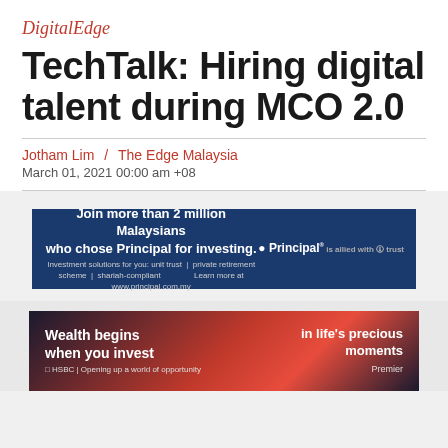DigitalEdge
TechTalk: Hiring digital talent during MCO 2.0
Jotham Lim  /  The Edge Malaysia
March 01, 2021 00:00 am +08
[Figure (infographic): Principal advertisement banner: 'Join more than 2 million Malaysians who chose Principal for investing.' with Principal logo and tagline 'Investment solutions for you: unit trust | private retirement scheme | shariah-compliant' and 'Learn more at www.principal.com.my']
[Figure (infographic): HSBC Premier advertisement banner: 'Wealth begins when you invest' and 'in life's precious moments' with HSBC logo and 'Opening up a world of opportunity' tagline, 'Premier' label]